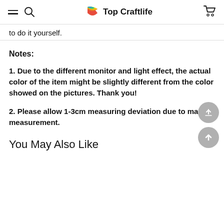Top Craftlife
to do it yourself.
Notes:
1. Due to the different monitor and light effect, the actual color of the item might be slightly different from the color showed on the pictures. Thank you!
2. Please allow 1-3cm measuring deviation due to manual measurement.
You May Also Like